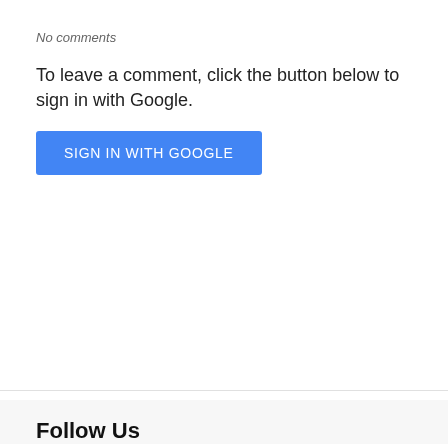No comments
To leave a comment, click the button below to sign in with Google.
[Figure (other): Blue 'SIGN IN WITH GOOGLE' button]
Follow Us